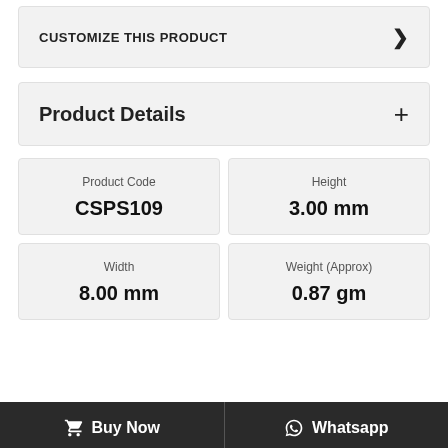CUSTOMIZE THIS PRODUCT
Product Details
| Product Code | Height | Width | Weight (Approx) |
| --- | --- | --- | --- |
| CSPS109 | 3.00 mm | 8.00 mm | 0.87 gm |
Buy Now   Whatsapp